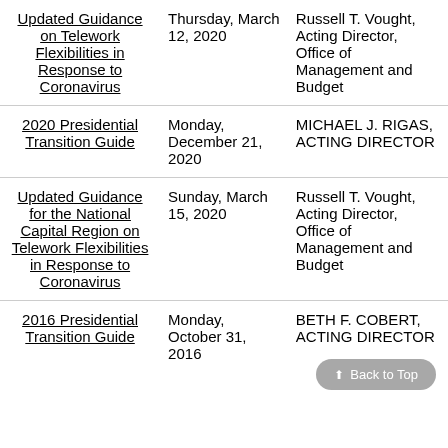| Title | Date | Author/Role |
| --- | --- | --- |
| Updated Guidance on Telework Flexibilities in Response to Coronavirus | Thursday, March 12, 2020 | Russell T. Vought, Acting Director, Office of Management and Budget |
| 2020 Presidential Transition Guide | Monday, December 21, 2020 | MICHAEL J. RIGAS, ACTING DIRECTOR |
| Updated Guidance for the National Capital Region on Telework Flexibilities in Response to Coronavirus | Sunday, March 15, 2020 | Russell T. Vought, Acting Director, Office of Management and Budget |
| 2016 Presidential Transition Guide | Monday, October 31, 2016 | BETH F. COBERT, ACTING DIRECTOR |